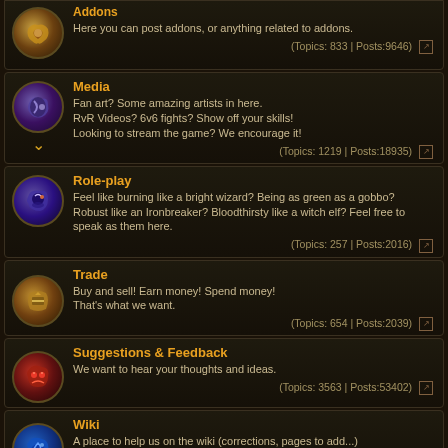Addons — Here you can post addons, or anything related to addons. (Topics: 833 | Posts:9646)
Media — Fan art? Some amazing artists in here. RvR Videos? 6v6 fights? Show off your skills! Looking to stream the game? We encourage it! (Topics: 1219 | Posts:18935)
Role-play — Feel like burning like a bright wizard? Being as green as a gobbo? Robust like an Ironbreaker? Bloodthirsty like a witch elf? Feel free to speak as them here. (Topics: 257 | Posts:2016)
Trade — Buy and sell! Earn money! Spend money! That's what we want. (Topics: 654 | Posts:2039)
Suggestions & Feedback — We want to hear your thoughts and ideas. (Topics: 3563 | Posts:53402)
Wiki — A place to help us on the wiki (corrections, pages to add...) (Topics: 49 | Posts:251)